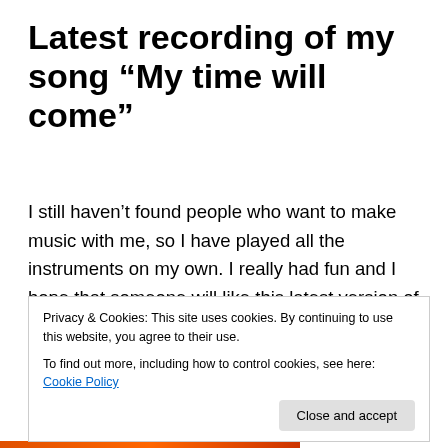Latest recording of my song “My time will come”
I still haven’t found people who want to make music with me, so I have played all the instruments on my own. I really had fun and I hope that someone will like this latest version of my song. But still it would better with others.
I played the 2 guitars, bass, cajon and I sang vocals and backing vocals. Fortunately I bought this Roland hard disk recorder some years ago :)
Privacy & Cookies: This site uses cookies. By continuing to use this website, you agree to their use.
To find out more, including how to control cookies, see here: Cookie Policy